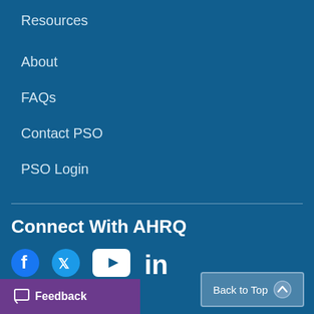Resources
About
FAQs
Contact PSO
PSO Login
Connect With AHRQ
[Figure (infographic): Social media icons: Facebook, Twitter, YouTube play button, LinkedIn]
Feedback | Back to Top